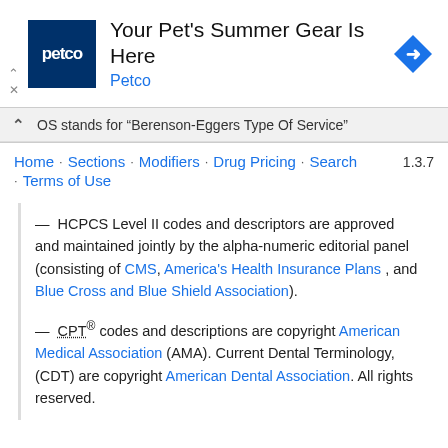[Figure (other): Petco advertisement banner with logo, headline 'Your Pet's Summer Gear Is Here', brand name 'Petco', and a blue diamond arrow icon. Ad controls (chevron up and X) visible on left side.]
OS stands for "Berenson-Eggers Type Of Service"
Home · Sections · Modifiers · Drug Pricing · Search · Terms of Use   1.3.7
— HCPCS Level II codes and descriptors are approved and maintained jointly by the alpha-numeric editorial panel (consisting of CMS, America's Health Insurance Plans , and Blue Cross and Blue Shield Association).
— CPT® codes and descriptions are copyright American Medical Association (AMA). Current Dental Terminology, (CDT) are copyright American Dental Association. All rights reserved.